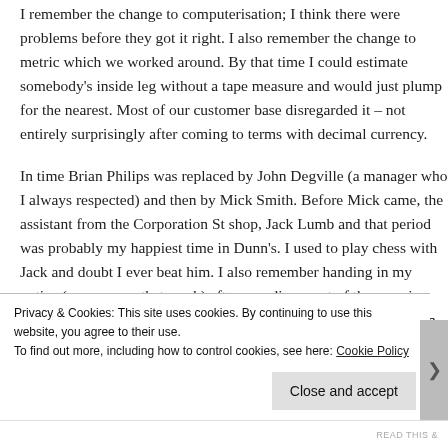I remember the change to computerisation; I think there were problems before they got it right. I also remember the change to metric which we worked around. By that time I could estimate somebody's inside leg without a tape measure and would just plump for the nearest. Most of our customer base disregarded it – not entirely surprisingly after coming to terms with decimal currency.
In time Brian Philips was replaced by John Degville (a manager who I always respected) and then by Mick Smith. Before Mick came, the assistant from the Corporation St shop, Jack Lumb and that period was probably my happiest time in Dunn's. I used to play chess with Jack and doubt I ever beat him. I also remember handing in my notice (as manager that week) after spending most of the morning crying in stock and feeling guilty in case I was letting people down.
Privacy & Cookies: This site uses cookies. By continuing to use this website, you agree to their use.
To find out more, including how to control cookies, see here: Cookie Policy
Close and accept